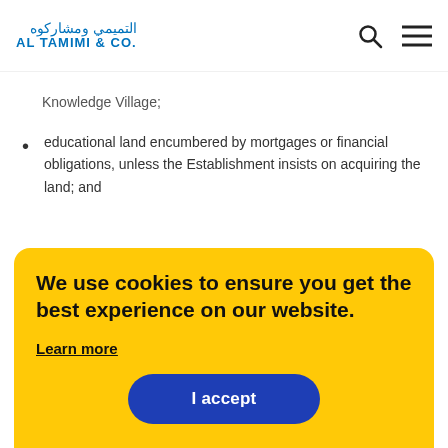Al Tamimi & Co. — website header with logo and navigation icons
Knowledge Village;
educational land encumbered by mortgages or financial obligations, unless the Establishment insists on acquiring the land; and
We use cookies to ensure you get the best experience on our website.
Learn more
I accept